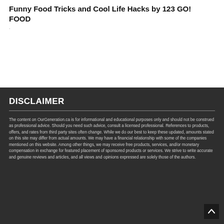Funny Food Tricks and Cool Life Hacks by 123 GO! FOOD
DISCLAIMER
The content on OurGeneration.ca is for informational and educational purposes only and should not be construed as professional advice. Should you need such advice, consult a licensed professional. References to products, offers, and rates from third party sites often change. While we do our best to keep these updated, amounts stated on this site may differ from actual amounts. We may have a financial relationship with some of the companies mentioned on this website. Among other things, we may receive free products, services, and/or monetary compensation in exchange for featured placement of sponsored products or services. We strive to write accurate and genuine reviews and articles, and all views and opinions expressed are solely those of the authors.